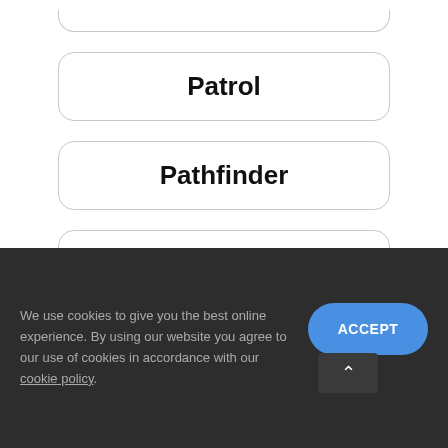Patrol
Pathfinder
Sylphy
We use cookies to give you the best online experience. By using our website you agree to our use of cookies in accordance with our cookie policy.